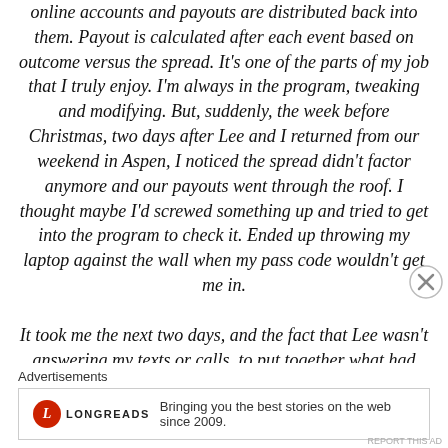online accounts and payouts are distributed back into them. Payout is calculated after each event based on outcome versus the spread. It's one of the parts of my job that I truly enjoy. I'm always in the program, tweaking and modifying. But, suddenly, the week before Christmas, two days after Lee and I returned from our weekend in Aspen, I noticed the spread didn't factor anymore and our payouts went through the roof. I thought maybe I'd screwed something up and tried to get into the program to check it. Ended up throwing my laptop against the wall when my pass code wouldn't get me in.

It took me the next two days, and the fact that Lee wasn't answering my texts or calls, to put together what had
[Figure (other): Close/dismiss button (X in circle)]
Advertisements
[Figure (logo): Longreads logo with red circle L and text 'LONGREADS'. Tagline: Bringing you the best stories on the web since 2009.]
REPORT THIS AD